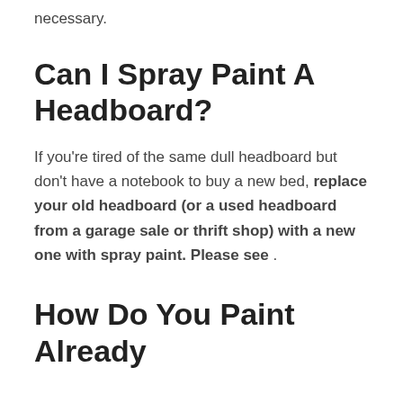necessary.
Can I Spray Paint A Headboard?
If you’re tired of the same dull headboard but don’t have a notebook to buy a new bed, replace your old headboard (or a used headboard from a garage sale or thrift shop) with a new one with spray paint. Please see .
How Do You Paint Already